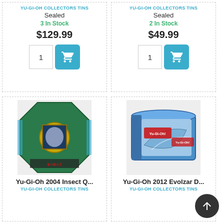YU-GI-OH COLLECTORS TINS
Sealed
3 In Stock
$129.99
1
YU-GI-OH COLLECTORS TINS
Sealed
2 In Stock
$49.99
1
[Figure (photo): Yu-Gi-Oh 2004 Insect Queen green octagonal collector tin]
Yu-Gi-Oh 2004 Insect Q...
YU-GI-OH COLLECTORS TINS
[Figure (photo): Yu-Gi-Oh 2012 Evolzar collector tin, blue/silver design]
Yu-Gi-Oh 2012 Evolzar D...
YU-GI-OH COLLECTORS TINS